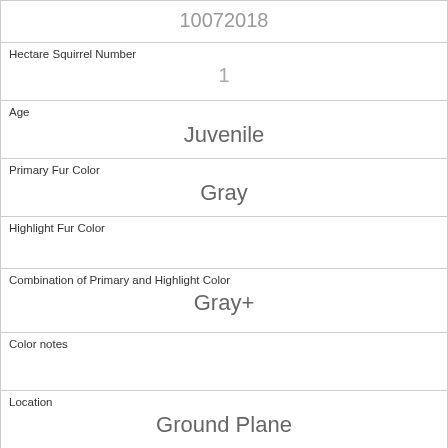| 10072018 |
| Hectare Squirrel Number | 1 |
| Age | Juvenile |
| Primary Fur Color | Gray |
| Highlight Fur Color |  |
| Combination of Primary and Highlight Color | Gray+ |
| Color notes |  |
| Location | Ground Plane |
| Above Ground Sighter Measurement | FALSE |
| Specific Location |  |
| Running | 0 |